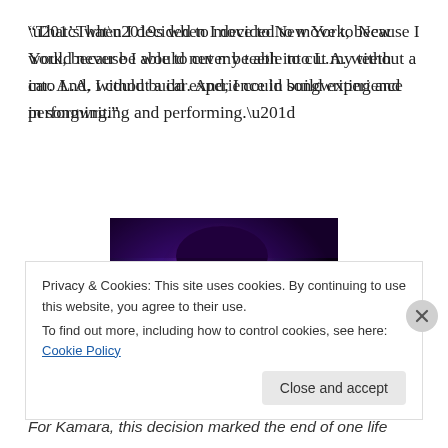“That’s when I decided to move to New York, because I would never be able to cut my teeth into L.A. without a car. And, I could build experience in songwriting and performing.”
[Figure (photo): A performer singing into a microphone under blue and purple stage lighting, face illuminated in dark setting]
For Kamara, this decision marked the end of one life
Privacy & Cookies: This site uses cookies. By continuing to use this website, you agree to their use.
To find out more, including how to control cookies, see here: Cookie Policy
Close and accept